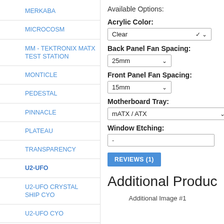MERKABA
MICROCOSM
MM - TEKTRONIX MATX TEST STATION
MONTICLE
PEDESTAL
PINNACLE
PLATEAU
TRANSPARENCY
U2-UFO
U2-UFO CRYSTAL SHIP CYO
U2-UFO CYO
U2-UFO DUALITY
U2-UFO GOLD DIGGER
Available Options:
Acrylic Color:
Clear
Back Panel Fan Spacing:
25mm
Front Panel Fan Spacing:
15mm
Motherboard Tray:
mATX / ATX
Window Etching:
-
REVIEWS (1)
Additional Product I
Additional Image #1